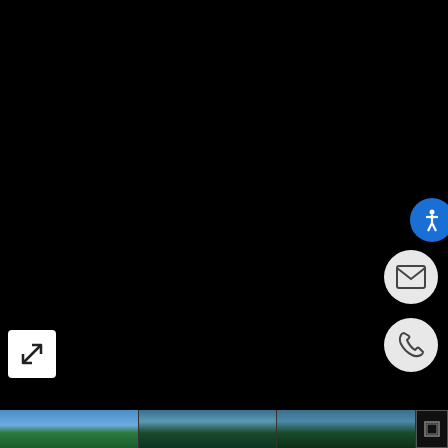[Figure (screenshot): Dark/black main content area of a real estate or property website screenshot, showing a dark background with UI overlay controls including an expand/fullscreen button (white square with diagonal arrow icon), an email contact button (white circle with envelope icon), a phone contact button (white circle with telephone icon), a blue accessibility button (circle with person icon), and a bottom thumbnail strip showing three property exterior photos partially visible.]